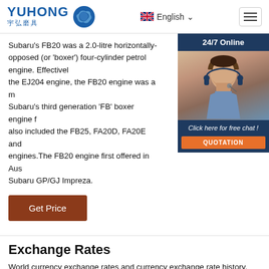YUHONG 宇弘磨具 | English | Menu
Subaru's FB20 was a 2.0-litre horizontally-opposed (or 'boxer') four-cylinder petrol engine. Effectively replacing the EJ204 engine, the FB20 engine was a member of Subaru's third generation 'FB' boxer engine family which also included the FB25, FA20D, FA20E and FA20F engines.The FB20 engine first offered in Australia in the Subaru GP/GJ Impreza.
[Figure (photo): Customer service representative widget with '24/7 Online' header, photo of woman with headset, 'Click here for free chat!' text, and orange QUOTATION button]
Get Price
Exchange Rates
World currency exchange rates and currency exchange rate history. Up-to-the-minute currency conversion, charts and more.
Get Price